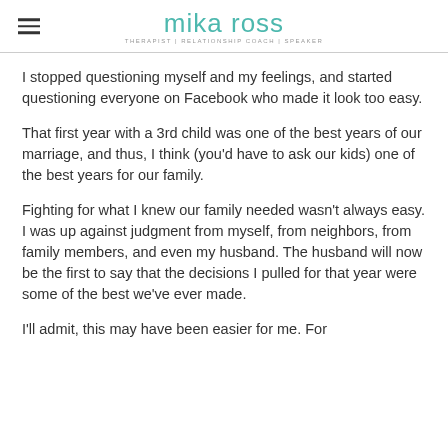mika ross — THERAPIST | RELATIONSHIP COACH | SPEAKER
I stopped questioning myself and my feelings, and started questioning everyone on Facebook who made it look too easy.
That first year with a 3rd child was one of the best years of our marriage, and thus, I think (you'd have to ask our kids) one of the best years for our family.
Fighting for what I knew our family needed wasn't always easy. I was up against judgment from myself, from neighbors, from family members, and even my husband. The husband will now be the first to say that the decisions I pulled for that year were some of the best we've ever made.
I'll admit, this may have been easier for me. For